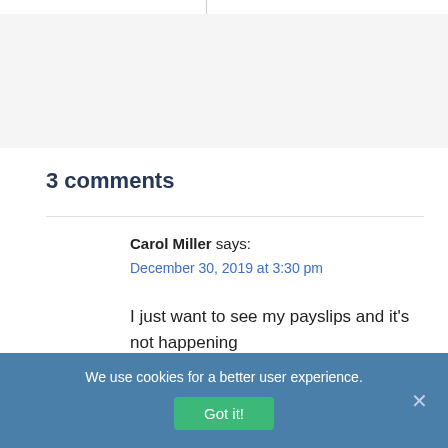3 comments
Carol Miller says:
December 30, 2019 at 3:30 pm
I just want to see my payslips and it's not happening I've been two hours trying to do this and I'm giving
We use cookies for a better user experience. Got it!